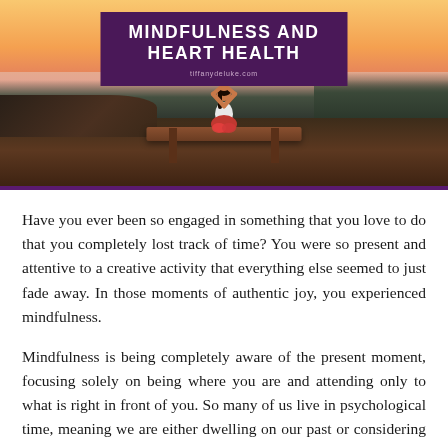[Figure (photo): Hero image showing a woman meditating in yoga pose on a wooden platform outdoors, with misty forest and warm sunset sky in the background. A purple banner overlay at the top reads 'MINDFULNESS AND HEART HEALTH' with 'tiffanydeluke.com' below.]
Have you ever been so engaged in something that you love to do that you completely lost track of time? You were so present and attentive to a creative activity that everything else seemed to just fade away. In those moments of authentic joy, you experienced mindfulness.
Mindfulness is being completely aware of the present moment, focusing solely on being where you are and attending only to what is right in front of you. So many of us live in psychological time, meaning we are either dwelling on our past or considering our future, while